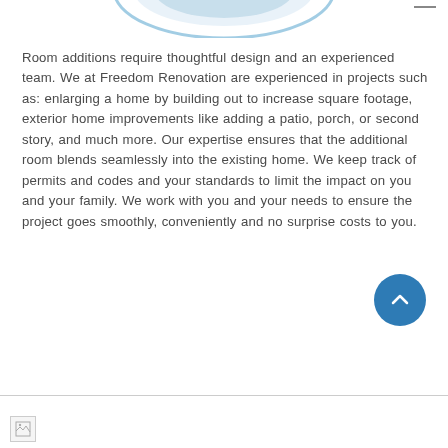[Figure (illustration): Partial blue decorative arc/logo element at top center of page]
Room additions require thoughtful design and an experienced team. We at Freedom Renovation are experienced in projects such as: enlarging a home by building out to increase square footage, exterior home improvements like adding a patio, porch, or second story, and much more. Our expertise ensures that the additional room blends seamlessly into the existing home. We keep track of permits and codes and your standards to limit the impact on you and your family. We work with you and your needs to ensure the project goes smoothly, conveniently and no surprise costs to you.
[Figure (illustration): Blue circular scroll-to-top button with upward chevron arrow, positioned bottom right]
[Figure (illustration): Bottom bar with broken image placeholder icon at lower left]